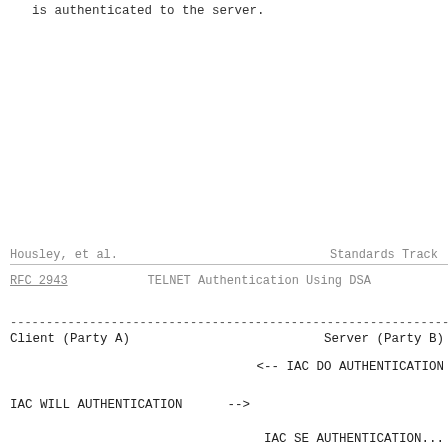is authenticated to the server.
Housley, et al.                    Standards Track
RFC 2943         TELNET Authentication Using DSA
------------------------------------------------------------------------
Client (Party A)                       Server (Party B)
<-- IAC DO AUTHENTICATION
IAC WILL AUTHENTICATION      -->
IAC SE AUTHENTICATION...